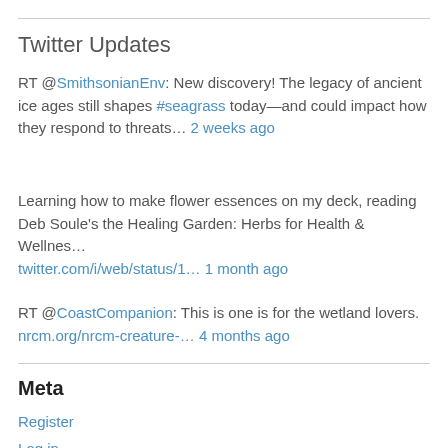Twitter Updates
RT @SmithsonianEnv: New discovery! The legacy of ancient ice ages still shapes #seagrass today—and could impact how they respond to threats… 2 weeks ago
Learning how to make flower essences on my deck, reading Deb Soule's the Healing Garden: Herbs for Health & Wellnes… twitter.com/i/web/status/1… 1 month ago
RT @CoastCompanion: This is one is for the wetland lovers. nrcm.org/nrcm-creature-… 4 months ago
Meta
Register
Log in
Entries feed